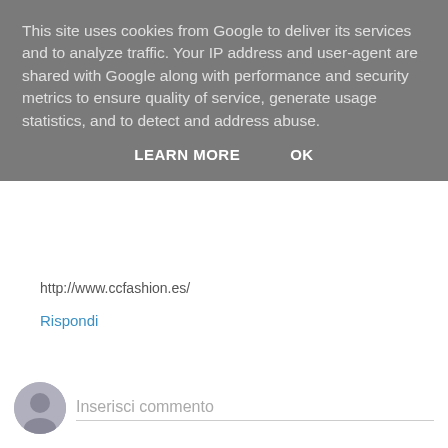This site uses cookies from Google to deliver its services and to analyze traffic. Your IP address and user-agent are shared with Google along with performance and security metrics to ensure quality of service, generate usage statistics, and to detect and address abuse.
LEARN MORE    OK
http://www.ccfashion.es/
Rispondi
Inserisci commento
Home page
Visualizza versione web
Powered by Blogger.